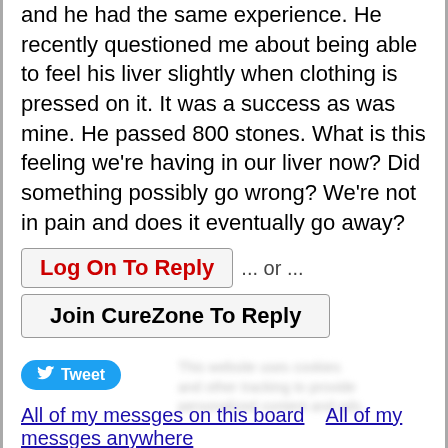and he had the same experience. He recently questioned me about being able to feel his liver slightly when clothing is pressed on it. It was a success as was mine. He passed 800 stones. What is this feeling we're having in our liver now? Did something possibly go wrong? We're not in pain and does it eventually go away?
Log On To Reply ... or ... Join CureZone To Reply
Tweet
All of my messges on this board    All of my messges anywhere